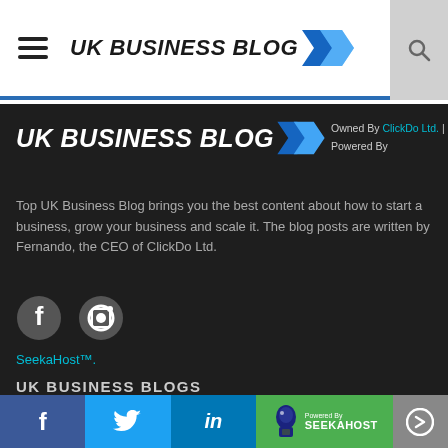UK BUSINESS BLOG
[Figure (logo): UK Business Blog logo with blue arrow chevrons]
Owned By ClickDo Ltd. | Powered By
Top UK Business Blog brings you the best content about how to start a business, grow your business and scale it. The blog posts are written by Fernando, the CEO of ClickDo Ltd.
[Figure (illustration): Facebook and RSS social media icons]
SeekaHost™.
UK BUSINESS BLOGS
Business
[Figure (infographic): Social share bar with Facebook, Twitter, LinkedIn, SeekaHost powered by, and arrow button]